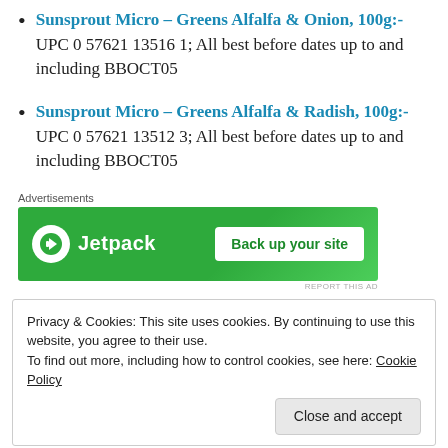Sunsprout Micro – Greens Alfalfa & Onion, 100g:- UPC 0 57621 13516 1; All best before dates up to and including BBOCT05
Sunsprout Micro – Greens Alfalfa & Radish, 100g:- UPC 0 57621 13512 3; All best before dates up to and including BBOCT05
[Figure (screenshot): Jetpack advertisement banner: green background with Jetpack logo and 'Back up your site' button]
Privacy & Cookies: This site uses cookies. By continuing to use this website, you agree to their use.
To find out more, including how to control cookies, see here: Cookie Policy
Close and accept
recall notice posted on the Canadian Food